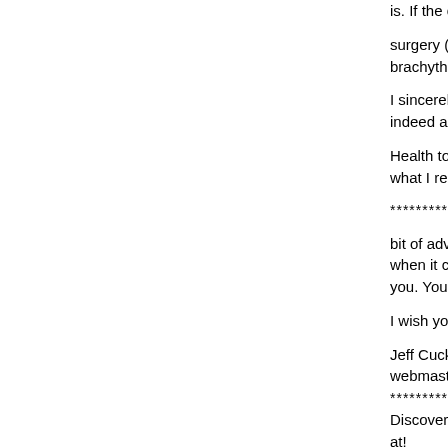is. If the cancer is small and o...
surgery (radical prostatectomy) brachytherapy) hormone thera...
I sincerely hope that this article... indeed a close friend.
Health to me is both physical a... what I regard the finest bits of...
***********************************
bit of advice for all humanity it... when it comes, hold your hea... you. You cannot defeat me." ...
I wish you perfect health and p...
Jeff Cuckson
webmaster@backtobetterheal...
***********************************
Discover Real People With St... at!
http://www.backtobetterhealth...
***********************************
About the author:
Jeff Cuckson
webmaster@backtobetterheal...
***********************************